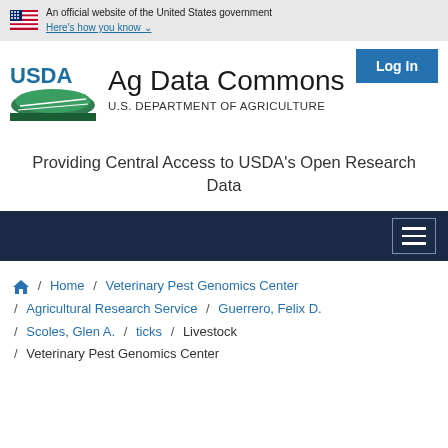An official website of the United States government Here's how you know ∨
[Figure (logo): USDA logo with flag-style icon and Ag Data Commons branding]
Providing Central Access to USDA's Open Research Data
Log In
[Figure (other): Dark navy navigation bar with hamburger menu icon]
Home / Veterinary Pest Genomics Center / Agricultural Research Service / Guerrero, Felix D. / Scoles, Glen A. / ticks / Livestock / Veterinary Pest Genomics Center